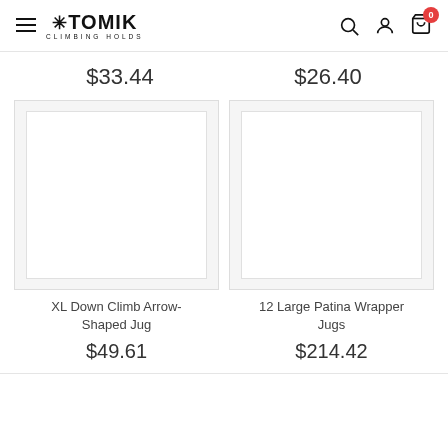Atomik Climbing Holds
$33.44
$26.40
[Figure (photo): Product image placeholder for XL Down Climb Arrow-Shaped Jug]
[Figure (photo): Product image placeholder for 12 Large Patina Wrapper Jugs]
XL Down Climb Arrow-Shaped Jug
$49.61
12 Large Patina Wrapper Jugs
$214.42